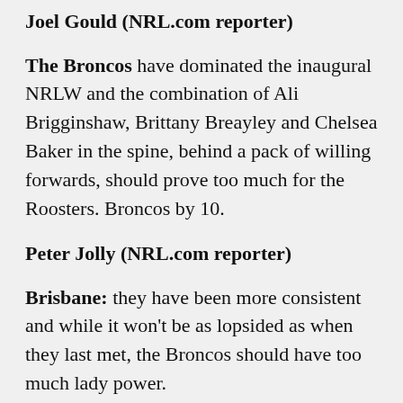Joel Gould (NRL.com reporter)
The Broncos have dominated the inaugural NRLW and the combination of Ali Brigginshaw, Brittany Breayley and Chelsea Baker in the spine, behind a pack of willing forwards, should prove too much for the Roosters. Broncos by 10.
Peter Jolly (NRL.com reporter)
Brisbane: they have been more consistent and while it won't be as lopsided as when they last met, the Broncos should have too much lady power.